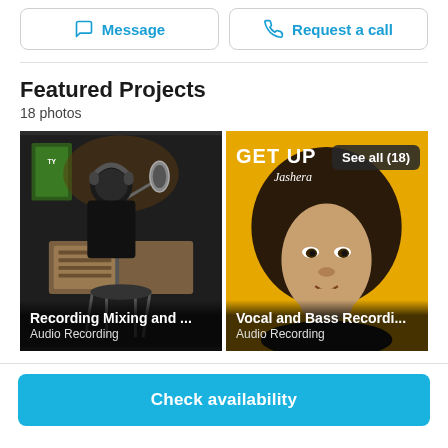Message
Request a call
Featured Projects
18 photos
[Figure (photo): Person in recording studio at microphone with studio equipment, dark background. Title overlay: 'Recording Mixing and ...' / 'Audio Recording']
[Figure (photo): Album cover 'GET UP Jashera' on yellow background, close-up portrait of woman with curly hair, overlay button: 'See all (18)'. Title overlay: 'Vocal and Bass Recordi...' / 'Audio Recording']
Check availability